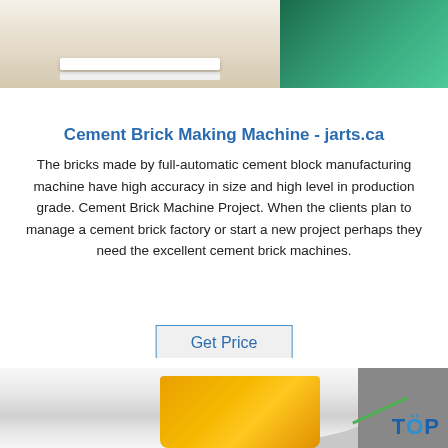[Figure (photo): Top strip showing two images: left side shows a structure with white panels/blinds on a beige wall, right side shows a green container or surface]
Cement Brick Making Machine - jarts.ca
The bricks made by full-automatic cement block manufacturing machine have high accuracy in size and high level in production grade. Cement Brick Machine Project. When the clients plan to manage a cement brick factory or start a new project perhaps they need the excellent cement brick machines.
Get Price
[Figure (photo): Bottom image showing industrial machinery with a large cylindrical drum (white), a yellow component inside, and machinery parts on the right with a TOP watermark logo]